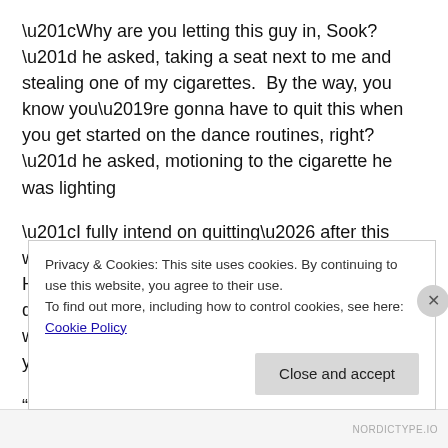“Why are you letting this guy in, Sook?” he asked, taking a seat next to me and stealing one of my cigarettes.  By the way, you know you’re gonna have to quit this when you get started on the dance routines, right?” he asked, motioning to the cigarette he was lighting
“I fully intend on quitting… after this weekend.  And I want you to give Eric a chance.  He has been a total gentleman around me.  If he didn’t have the reputation he has, you wouldn’t have a problem with him, would you?”
“I tell the only reason I know who he is is because of that
Privacy & Cookies: This site uses cookies. By continuing to use this website, you agree to their use.
To find out more, including how to control cookies, see here: Cookie Policy